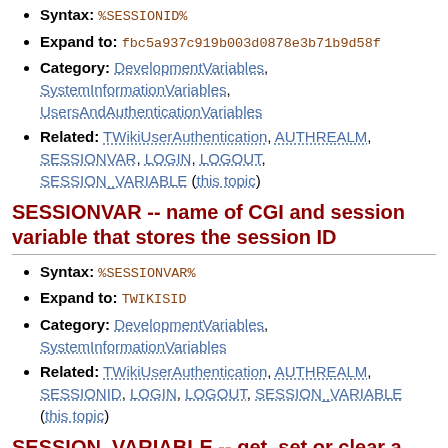Syntax: %SESSIONID%
Expand to: fbc5a937c919b003d0878e3b71b9d58f
Category: DevelopmentVariables, SystemInformationVariables, UsersAndAuthenticationVariables
Related: TWikiUserAuthentication, AUTHREALM, SESSIONVAR, LOGIN, LOGOUT, SESSION_VARIABLE (this topic)
SESSIONVAR -- name of CGI and session variable that stores the session ID
Syntax: %SESSIONVAR%
Expand to: TWIKISID
Category: DevelopmentVariables, SystemInformationVariables
Related: TWikiUserAuthentication, AUTHREALM, SESSIONID, LOGIN, LOGOUT, SESSION_VARIABLE (this topic)
SESSION_VARIABLE -- get, set or clear a session variable